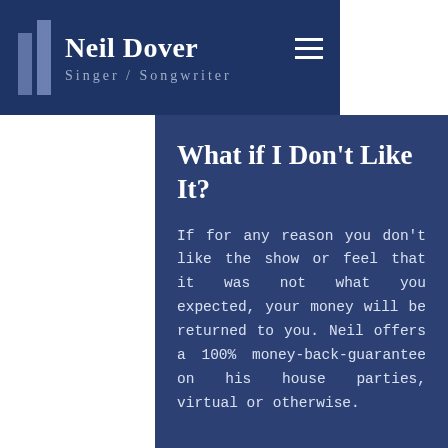Neil Dover | Singer / Songwriter
What if I Don't Like It?
If for any reason you don't like the show or feel that it was not what you expected, your money will be returned to you.  Neil offers a 100% money-back-guarantee on his house parties, virtual or otherwise.
How Do I Book a Virtual House Party?